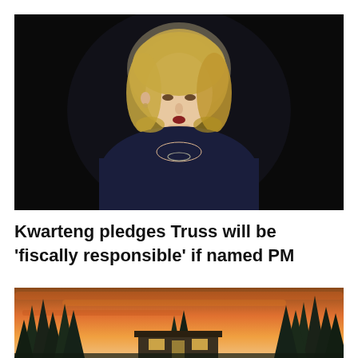[Figure (photo): A woman with short blonde hair wearing a dark navy dress against a dark/black background, photographed speaking at an event.]
Kwarteng pledges Truss will be 'fiscally responsible' if named PM
[Figure (photo): A modern cabin/house with a flat roof surrounded by tall pine/fir trees against a dramatic pink and orange sunset sky.]